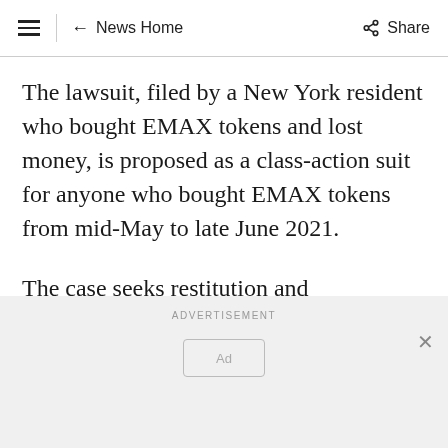≡  ← News Home  Share
The lawsuit, filed by a New York resident who bought EMAX tokens and lost money, is proposed as a class-action suit for anyone who bought EMAX tokens from mid-May to late June 2021.
The case seeks restitution and disgorgement of profits by the defendants.
ADVERTISEMENT
[Figure (other): Advertisement placeholder box with 'Ad' label]